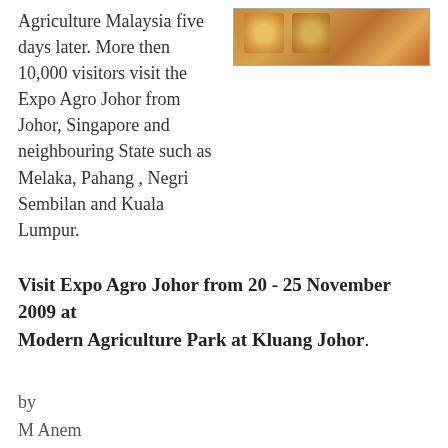Agriculture Malaysia five days later. More then 10,000 visitors visit the Expo Agro Johor from Johor, Singapore and neighbouring State such as Melaka, Pahang , Negri Sembilan and Kuala Lumpur.
[Figure (photo): Photo of jars/bottles of agricultural products displayed on a table with decorative background]
Visit Expo Agro Johor from 20 - 25 November 2009 at Modern Agriculture Park at Kluang Johor.
by
M Anem
JOHOR